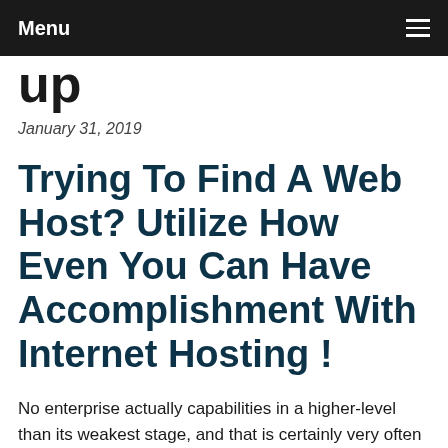Menu
up
January 31, 2019
Trying To Find A Web Host? Utilize How Even You Can Have Accomplishment With Internet Hosting !
No enterprise actually capabilities in a higher-level than its weakest stage, and that is certainly very often